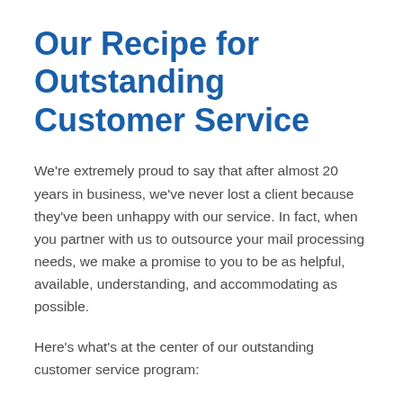Our Recipe for Outstanding Customer Service
We're extremely proud to say that after almost 20 years in business, we've never lost a client because they've been unhappy with our service. In fact, when you partner with us to outsource your mail processing needs, we make a promise to you to be as helpful, available, understanding, and accommodating as possible.
Here's what's at the center of our outstanding customer service program: